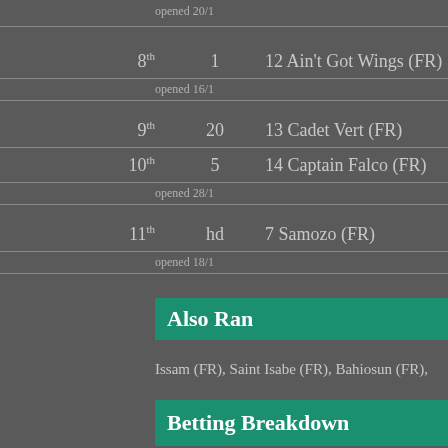opened 20/1
| Position | Number | Horse |
| --- | --- | --- |
| 8th | 1 | 12 Ain't Got Wings (FR) |
| opened 16/1 |  |  |
| 9th | 20 | 13 Cadet Vert (FR) |
| 10th | 5 | 14 Captain Falco (FR) |
| opened 28/1 |  |  |
| 11th | hd | 7 Samozo (FR) |
| opened 18/1 |  |  |
Also Ran
Issam (FR), Saint Isabe (FR), Bahiosun (FR),
Betting Breakdown